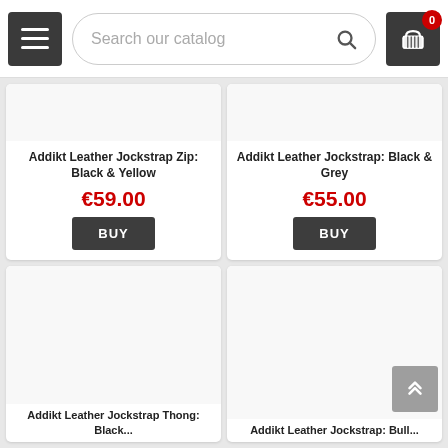[Figure (screenshot): E-commerce website header with hamburger menu, search bar labeled 'Search our catalog', and shopping cart icon with badge showing 0]
Addikt Leather Jockstrap Zip: Black & Yellow
€59.00
BUY
Addikt Leather Jockstrap: Black & Grey
€55.00
BUY
Addikt Leather Jockstrap Thong: Black
Addikt Leather Jockstrap: Bull...